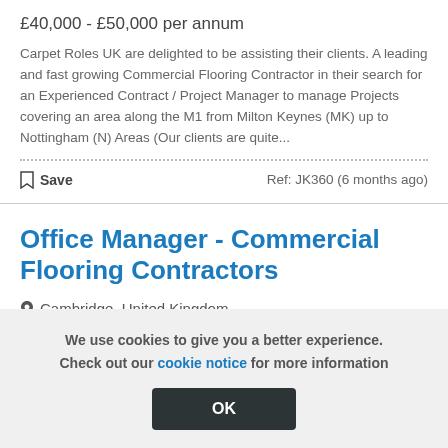£40,000 - £50,000 per annum
Carpet Roles UK are delighted to be assisting their clients. A leading and fast growing Commercial Flooring Contractor in their search for an Experienced Contract / Project Manager to manage Projects covering an area along the M1 from Milton Keynes (MK) up to Nottingham (N) Areas (Our clients are quite...
Save   Ref: JK360 (6 months ago)
Office Manager - Commercial Flooring Contractors
Cambridge, United Kingdom
We use cookies to give you a better experience. Check out our cookie notice for more information